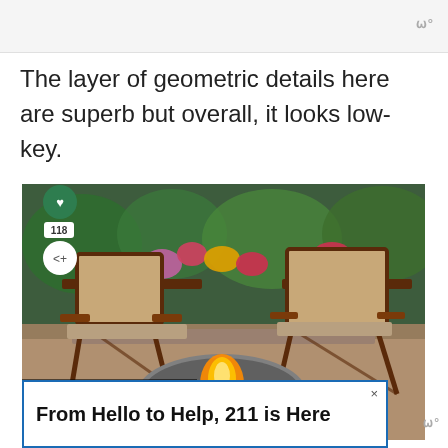ш°
The layer of geometric details here are superb but overall, it looks low-key.
[Figure (photo): Outdoor patio with two wooden director-style chairs with beige fabric seats, a fire pit filled with river rocks and an active flame, two ceramic mugs on a white cloth, colorful flowering shrubs in the background, gravel ground covering. Social share sidebar shows heart icon, count 118, and share icon. 'What's Next' overlay shows '50+ Sloped Backyard...' with a circular thumbnail.]
From Hello to Help, 211 is Here